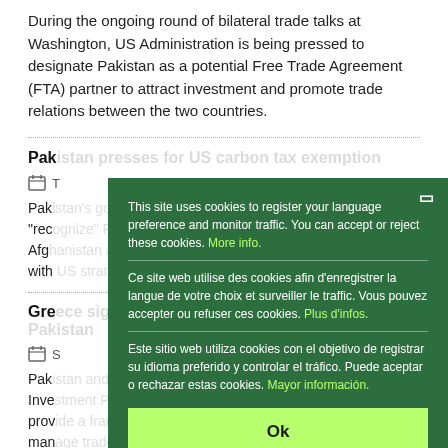During the ongoing round of bilateral trade talks at Washington, US Administration is being pressed to designate Pakistan as a potential Free Trade Agreement (FTA) partner to attract investment and promote trade relations between the two countries.
Pakistan presses for US carbon tax exemption
Pakistan ... "rec... Afg... with...
Greece...
Pakistan ... Investment... provide... man...
[Figure (screenshot): Cookie consent modal overlay on a dark green background with trilingual cookie notice in English, French, and Spanish, with a green 'Ok' button.]